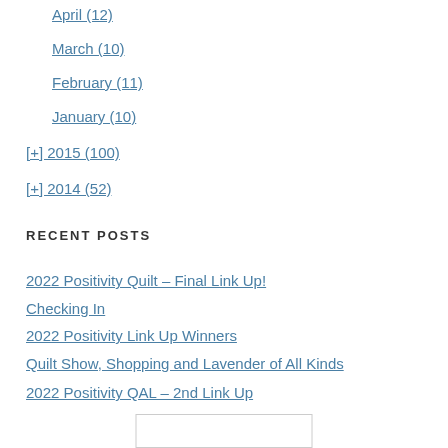April (12)
March (10)
February (11)
January (10)
[+] 2015 (100)
[+] 2014 (52)
RECENT POSTS
2022 Positivity Quilt – Final Link Up!
Checking In
2022 Positivity Link Up Winners
Quilt Show, Shopping and Lavender of All Kinds
2022 Positivity QAL – 2nd Link Up